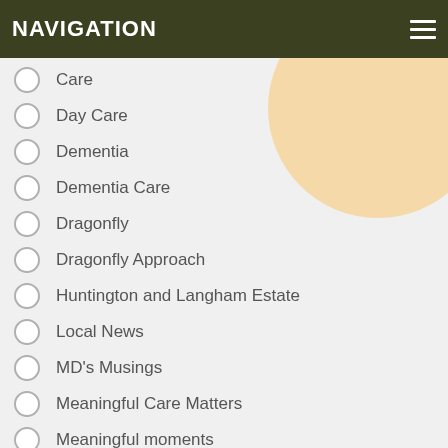NAVIGATION
Care
Day Care
Dementia
Dementia Care
Dragonfly
Dragonfly Approach
Huntington and Langham Estate
Local News
MD's Musings
Meaningful Care Matters
Meaningful moments
Nursing Care
Residential Care
Respite Care